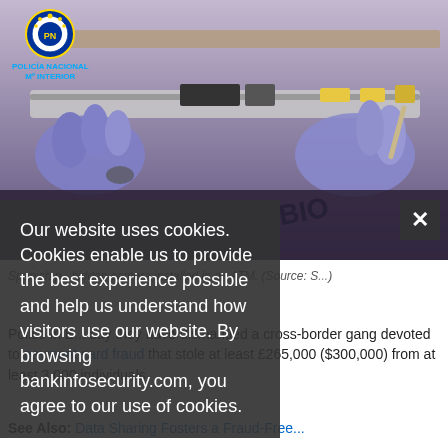[Figure (photo): Photo showing gloved hands holding a skimming device/card reader near an ATM slot, with Policia Nacional logo in upper left corner.]
Spanish police displaying a hidden camera installed in an ATM. (Source: S...)
Police in [Spain] say they have dismantled a cross-border gang devoted to payment card fraud that stole at least £265,000 ($300,000) from at least 3,000 individuals.
See Also: Data Sharing Fosters a Fraud-Free...
Our website uses cookies. Cookies enable us to provide the best experience possible and help us understand how visitors use our website. By browsing bankinfosecurity.com, you agree to our use of cookies.